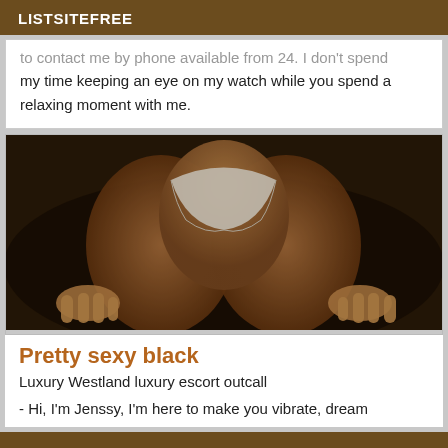LISTSITEFREE
to contact me by phone available from 24. I don't spend my time keeping an eye on my watch while you spend a relaxing moment with me.
[Figure (photo): Blurred photograph showing a person from behind wearing white underwear, lying on a dark surface.]
Pretty sexy black
Luxury Westland luxury escort outcall
- Hi, I'm Jenssy, I'm here to make you vibrate, dream